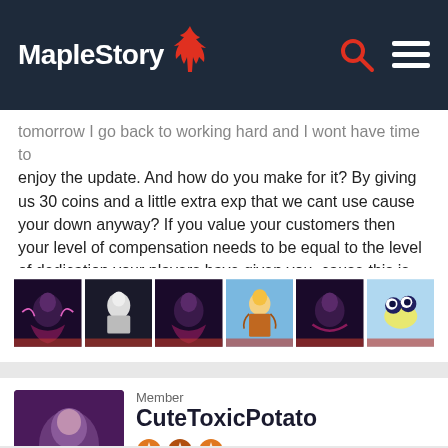MapleStory
tomorrow I go back to working hard and I wont have time to enjoy the update. And how do you make for it? By giving us 30 coins and a little extra exp that we cant use cause your down anyway? If you value your customers then your level of compensation needs to be equal to the level of dedication your players have given you, cause this is rediculous.
[Figure (illustration): Six small avatar/reaction thumbnails in a row showing game character icons]
Member
CuteToxicPotato
Reactions: 340
Posts: 7
DECEMBER 2016   EDITED DECEMBER 2016
[Figure (illustration): Bottom quoted block showing start of a quote with 'jimmybath said' in red text and a profile avatar thumbnail]